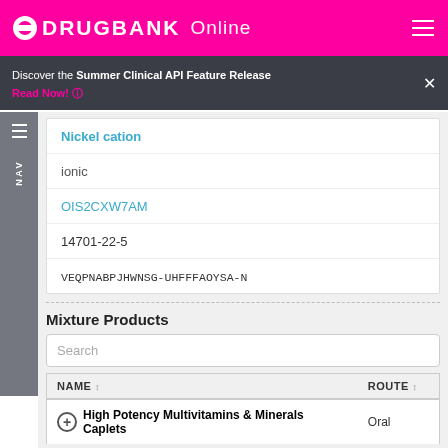DRUGBANK Online
Discover the Summer Clinical API Feature Release
Read Now!
Nickel cation
ionic
OIS2CXW7AM
14701-22-5
VEQPNABPJHWNSG-UHFFFAOYSA-N
Mixture Products
| NAME | ROUTE |
| --- | --- |
| High Potency Multivitamins & Minerals Caplets | Oral |